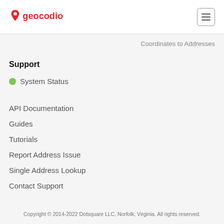geocodio [logo and navigation]
Coordinates to Addresses
Support
System Status
API Documentation
Guides
Tutorials
Report Address Issue
Single Address Lookup
Contact Support
Copyright © 2014-2022 Dotsquare LLC, Norfolk, Virginia. All rights reserved.